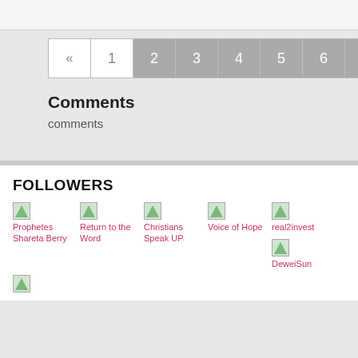[Figure (screenshot): Top white strip area from previous content]
[Figure (screenshot): Pagination control with arrow left, 1, 2 (gray), 3 (gray), 4 (gray), 5 (gray), 6 (gray), arrow right (gray)]
Comments
comments
FOLLOWERS
[Figure (screenshot): Followers grid with broken image icons and pink link names: Prophetes Shareta Berry, Return to the Word, Christians Speak UP, Voice of Hope, real2invest, DeweiSun, and one partial at bottom]